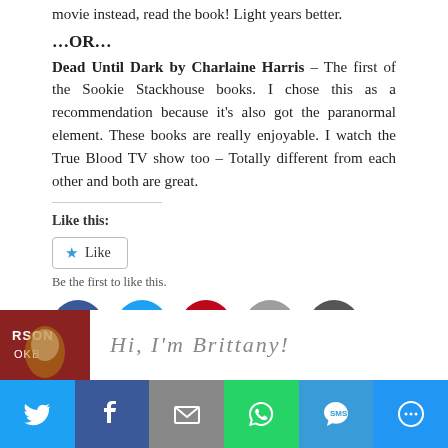movie instead, read the book! Light years better.
...OR...
Dead Until Dark by Charlaine Harris – The first of the Sookie Stackhouse books. I chose this as a recommendation because it's also got the paranormal element. These books are really enjoyable. I watch the True Blood TV show too – Totally different from each other and both are great.
Like this:
Like
Be the first to like this.
[Figure (infographic): Social sharing icons: Facebook, Twitter, Pinterest, Email, Copy Link]
[Figure (photo): Author avatar with text: Hi, I'm Brittany!]
[Figure (infographic): Bottom share bar with Twitter, Facebook, Email, WhatsApp, SMS, More buttons]